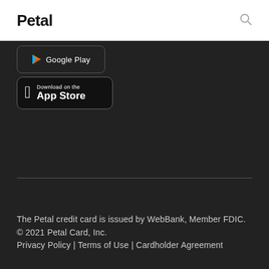Petal
[Figure (screenshot): Google Play store download button, partially visible at top of dark section]
[Figure (screenshot): Download on the App Store button, black with Apple logo]
The Petal credit card is issued by WebBank, Member FDIC. © 2021 Petal Card, Inc. Privacy Policy | Terms of Use | Cardholder Agreement